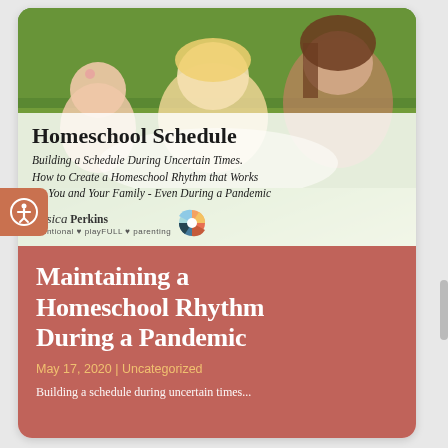[Figure (photo): Three children (a baby, a toddler with blonde hair, and an older girl) lying on grass outdoors, looking at something together. Below the photo is a semi-transparent white overlay with book/guide title text.]
Homeschool Schedule
Building a Schedule During Uncertain Times. How to Create a Homeschool Rhythm that Works for You and Your Family - Even During a Pandemic
jessica Perkins intentional ♥ playFULL ♥ parenting
Maintaining a Homeschool Rhythm During a Pandemic
May 17, 2020 | Uncategorized
Building a schedule during uncertain times...